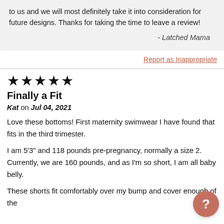to us and we will most definitely take it into consideration for future designs. Thanks for taking the time to leave a review!
- Latched Mama
Report as Inappropriate
[Figure (other): 5 filled black stars rating]
Finally a Fit
Kat on Jul 04, 2021
Love these bottoms! First maternity swimwear I have found that fits in the third trimester.
I am 5'3" and 118 pounds pre-pregnancy, normally a size 2. Currently, we are 160 pounds, and as I'm so short, I am all baby belly.
These shorts fit comfortably over my bump and cover enough of the